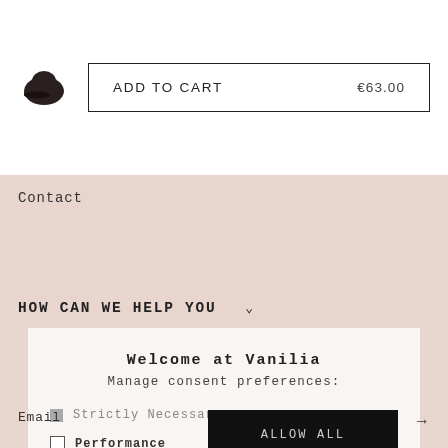[Figure (illustration): Small dark baseball cap product icon]
ADD TO CART  €63.00
Contact
HOW CAN WE HELP YOU ∨
Welcome at Vanilia
Manage consent preferences:
Strictly Necessary
Performance
Targeting
Functional
ALLOW ALL
MANAGE SETTINGS
Email